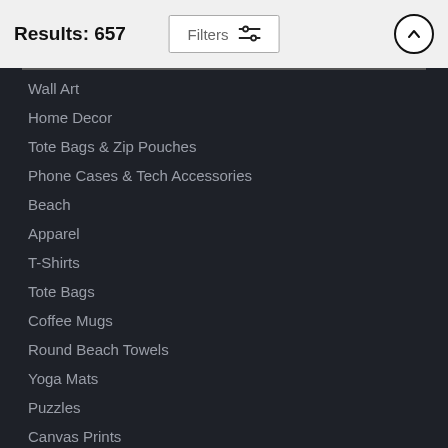Results: 657
Filters
Wall Art
Home Decor
Tote Bags & Zip Pouches
Phone Cases & Tech Accessories
Beach
Apparel
T-Shirts
Tote Bags
Coffee Mugs
Round Beach Towels
Yoga Mats
Puzzles
Canvas Prints
Tapestries
CREATE